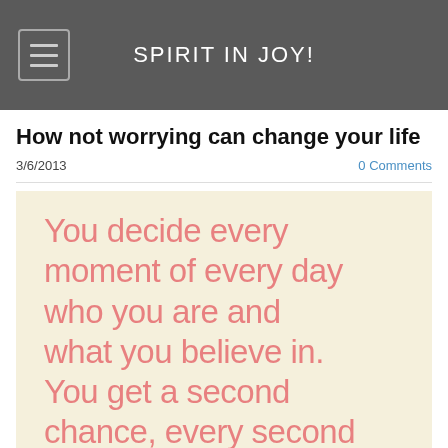SPIRIT IN JOY!
How not worrying can change your life
3/6/2013
0 Comments
[Figure (illustration): Cream/beige background with large pink rounded-font text reading: 'You decide every moment of every day who you are and what you believe in. You get a second chance, every second']